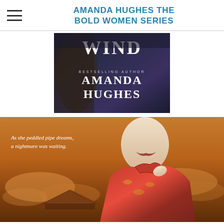AMANDA HUGHES THE BOLD WOMEN SERIES
[Figure (illustration): Book cover showing partial title 'WIND', text 'BESTSELLING AUTHOR', and author name 'AMANDA HUGHES' in large serif font on dark purple/blue background with a woman in period dress]
[Figure (illustration): Book cover showing a woman in a red Chinese-style qipao dress against an orange/amber sunset sky with clouds and a pagoda rooftop. Text reads: 'As she peddled pipe dreams, a nightmare was waiting.']